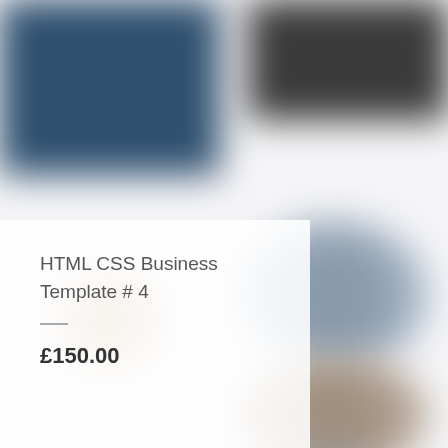[Figure (photo): Blurred background collage of product or template preview images arranged around the page — dark blue rectangle top-left, dark rectangle top-right, beige/tan blurred circle mid-left, blue-grey blurred circle mid-right upper, brownish blurred circle mid-right middle, grey blurred circle bottom-right]
HTML CSS Business Template # 4
£150.00